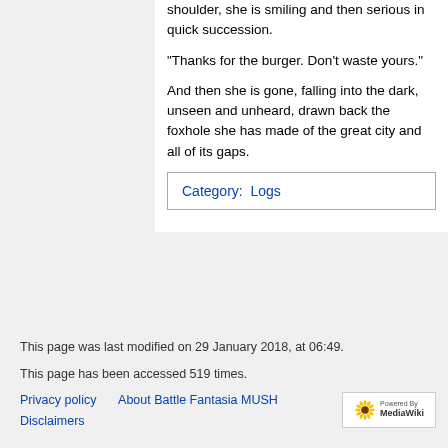shoulder, she is smiling and then serious in quick succession.
"Thanks for the burger. Don't waste yours."
And then she is gone, falling into the dark, unseen and unheard, drawn back the foxhole she has made of the great city and all of its gaps.
Category: Logs
This page was last modified on 29 January 2018, at 06:49.
This page has been accessed 519 times.
Privacy policy   About Battle Fantasia MUSH   Disclaimers